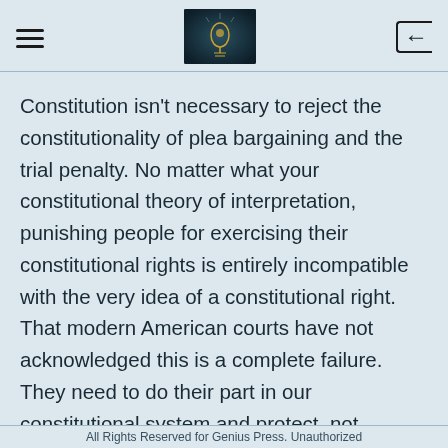[hamburger menu] [light bulb image] [back icon]
Constitution isn't necessary to reject the constitutionality of plea bargaining and the trial penalty. No matter what your constitutional theory of interpretation, punishing people for exercising their constitutional rights is entirely incompatible with the very idea of a constitutional right. That modern American courts have not acknowledged this is a complete failure. They need to do their part in our constitutional system and protect, not negotiate away, Americans' rights.
All Rights Reserved for Genius Press. Unauthorized